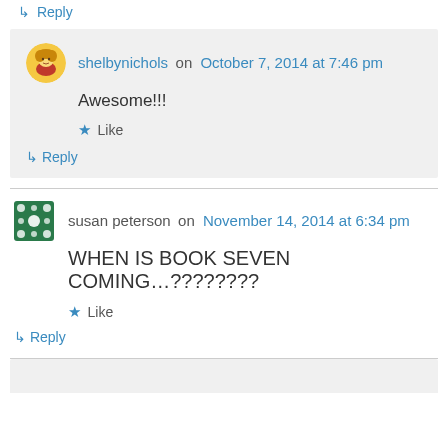↳ Reply
shelbynichols on October 7, 2014 at 7:46 pm
Awesome!!!
Like
↳ Reply
susan peterson on November 14, 2014 at 6:34 pm
WHEN IS BOOK SEVEN COMING…????????
Like
↳ Reply